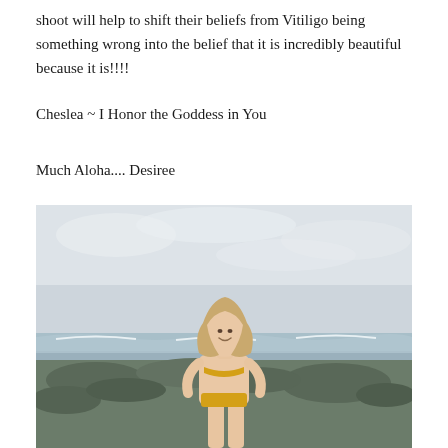shoot will help to shift their beliefs from Vitiligo being something wrong into the belief that it is incredibly beautiful because it is!!!!
Cheslea ~ I Honor the Goddess in You
Much Aloha.... Desiree
[Figure (photo): A young woman with long blonde hair wearing a yellow bikini, standing on a rocky beach shoreline. The background shows ocean waves and an overcast sky.]